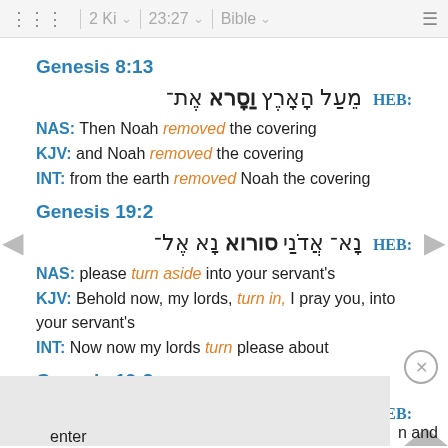⠿ 2 Ki ∨  23:27 ∨  Bible ∨  ≡
Genesis 8:13
HEB: [Hebrew text]
NAS: Then Noah removed the covering
KJV: and Noah removed the covering
INT: from the earth removed Noah the covering
Genesis 19:2
HEB: [Hebrew text]
NAS: please turn aside into your servant's
KJV: Behold now, my lords, turn in, I pray you, into your servant's
INT: Now now my lords turn please about
Genesis 19:3
HEB: [Hebrew text]
NAS: n and enter